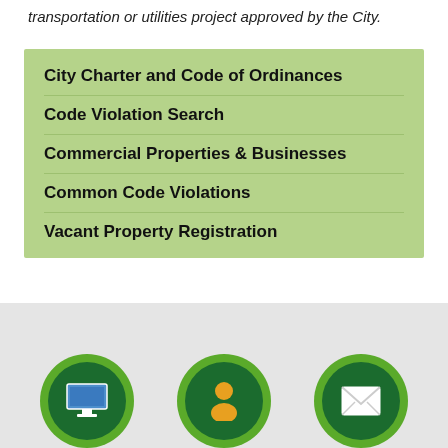transportation or utilities project approved by the City.
City Charter and Code of Ordinances
Code Violation Search
Commercial Properties & Businesses
Common Code Violations
Vacant Property Registration
[Figure (infographic): Three circular icons on a grey background: a computer monitor icon, a person/user icon, and a mail/envelope icon, each in dark green circles with a lighter green border ring.]